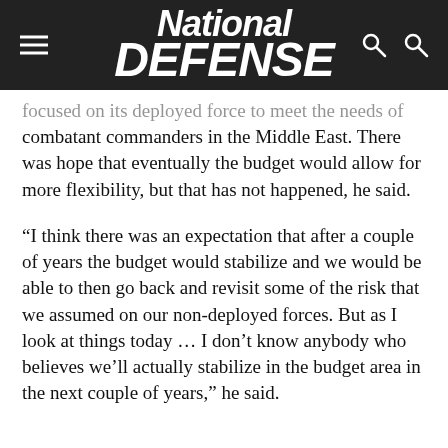National Defense
focused on its deployed force to meet the needs of combatant commanders in the Middle East. There was hope that eventually the budget would allow for more flexibility, but that has not happened, he said.
“I think there was an expectation that after a couple of years the budget would stabilize and we would be able to then go back and revisit some of the risk that we assumed on our non-deployed forces. But as I look at things today … I don’t know anybody who believes we’ll actually stabilize in the budget area in the next couple of years,” he said.